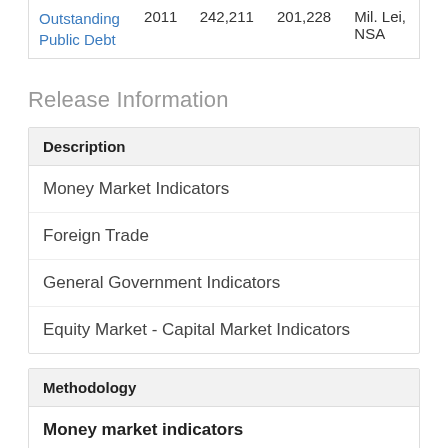| Description | Year | Value1 | Value2 | Unit |
| --- | --- | --- | --- | --- |
| Outstanding Public Debt | 2011 | 242,211 | 201,228 | Mil. Lei, NSA |
Release Information
| Description |
| --- |
| Money Market Indicators |
| Foreign Trade |
| General Government Indicators |
| Equity Market - Capital Market Indicators |
| Methodology |
| --- |
| Money market indicators |